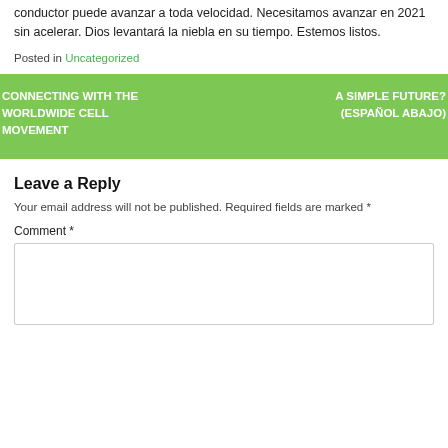conductor puede avanzar a toda velocidad. Necesitamos avanzar en 2021 sin acelerar. Dios levantará la niebla en su tiempo. Estemos listos.
Posted in Uncategorized
CONNECTING WITH THE WORLDWIDE CELL MOVEMENT
A SIMPLE FUTURE? (ESPAÑOL ABAJO)
Leave a Reply
Your email address will not be published. Required fields are marked *
Comment *